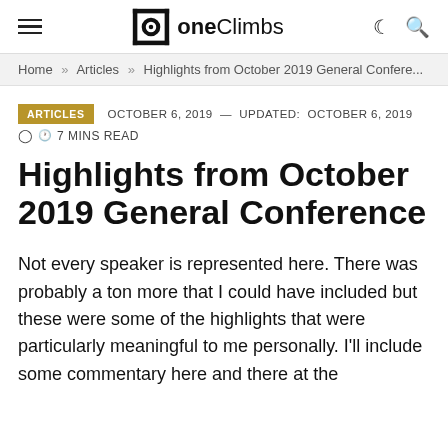oneClimbs
Home » Articles » Highlights from October 2019 General Confere...
ARTICLES   OCTOBER 6, 2019 — UPDATED:  OCTOBER 6, 2019   🕐 7 MINS READ
Highlights from October 2019 General Conference
Not every speaker is represented here. There was probably a ton more that I could have included but these were some of the highlights that were particularly meaningful to me personally. I'll include some commentary here and there at the end of each list...